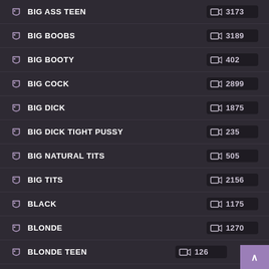BIG ASS TEEN
BIG BOOBS
BIG BOOTY
BIG COCK
BIG DICK
BIG DICK TIGHT PUSSY
BIG NATURAL TITS
BIG TITS
BLACK
BLONDE
BLONDE TEEN